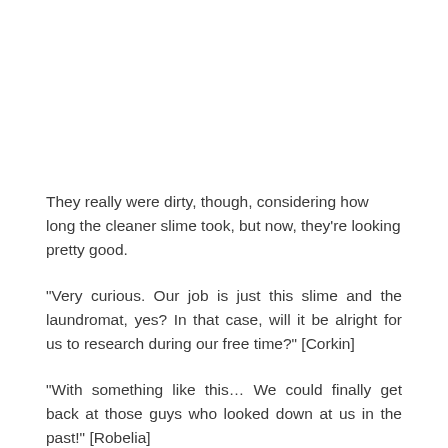They really were dirty, though, considering how long the cleaner slime took, but now, they’re looking pretty good.
“Very curious. Our job is just this slime and the laundromat, yes? In that case, will it be alright for us to research during our free time?” [Corkin]
“With something like this… We could finally get back at those guys who looked down at us in the past!” [Robelia]